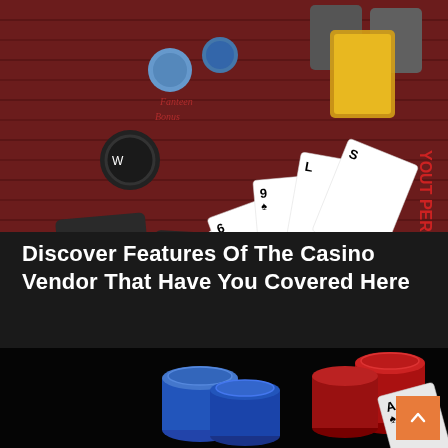[Figure (photo): Casino table with playing cards (9 of spades, 6 of spades, 9 of spades, and others fanned out) and poker chips on a dark red felt table surface. Text 'YOUT PER' visible on table edge.]
Discover Features Of The Casino Vendor That Have You Covered Here
[Figure (photo): Casino poker chips stacked (red and blue chips) with two playing cards (Ace of spades, Ace of hearts) against a black background. Orange scroll-to-top button visible in bottom right corner.]